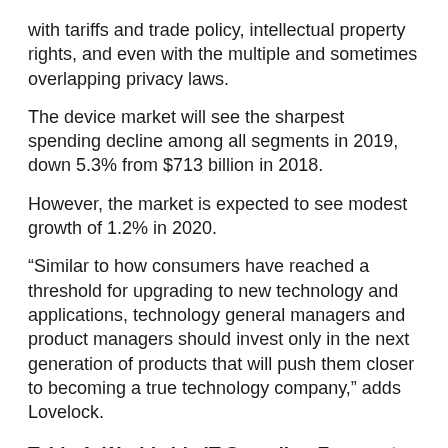with tariffs and trade policy, intellectual property rights, and even with the multiple and sometimes overlapping privacy laws.
The device market will see the sharpest spending decline among all segments in 2019, down 5.3% from $713 billion in 2018.
However, the market is expected to see modest growth of 1.2% in 2020.
“Similar to how consumers have reached a threshold for upgrading to new technology and applications, technology general managers and product managers should invest only in the next generation of products that will push them closer to becoming a true technology company,” adds Lovelock.
Table 1. Worldwide IT Spending Forecast (Billions of U.S. Dollars)